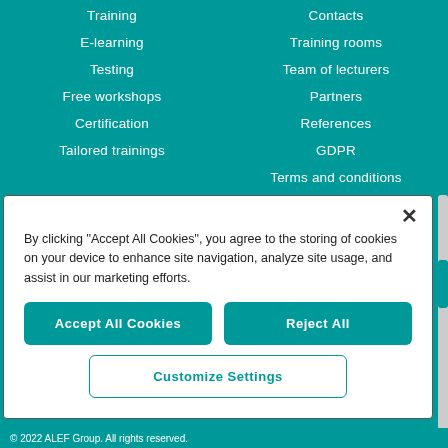Training
E-learning
Testing
Free workshops
Certification
Tailored trainings
Contacts
Training rooms
Team of lecturers
Partners
References
GDPR
Terms and conditions
By clicking "Accept All Cookies", you agree to the storing of cookies on your device to enhance site navigation, analyze site usage, and assist in our marketing efforts.
Accept All Cookies
Reject All
Customize Settings
© 2022 ALEF Group. All rights reserved.